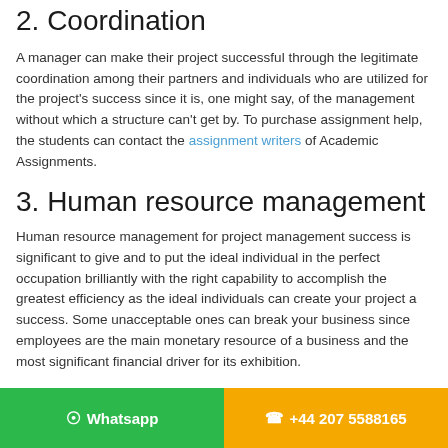2. Coordination
A manager can make their project successful through the legitimate coordination among their partners and individuals who are utilized for the project's success since it is, one might say, of the management without which a structure can't get by. To purchase assignment help, the students can contact the assignment writers of Academic Assignments.
3. Human resource management
Human resource management for project management success is significant to give and to put the ideal individual in the perfect occupation brilliantly with the right capability to accomplish the greatest efficiency as the ideal individuals can create your project a success. Some unacceptable ones can break your business since employees are the main monetary resource of a business and the most significant financial driver for its exhibition.
4. Maslow's needs hierarchy
As per Abraham Maslow, a manager ought to understand the need...
Whatsapp   +44 207 5588165